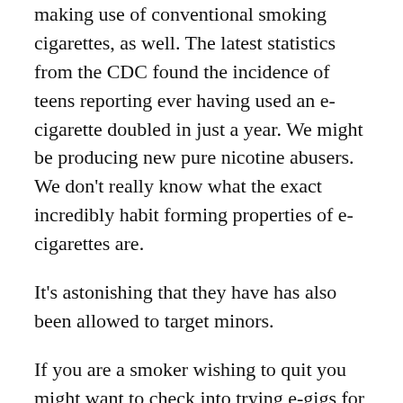making use of conventional smoking cigarettes, as well. The latest statistics from the CDC found the incidence of teens reporting ever having used an e-cigarette doubled in just a year. We might be producing new pure nicotine abusers. We don't really know what the exact incredibly habit forming properties of e-cigarettes are.
It's astonishing that they have has also been allowed to target minors.
If you are a smoker wishing to quit you might want to check into trying e-gigs for your health.